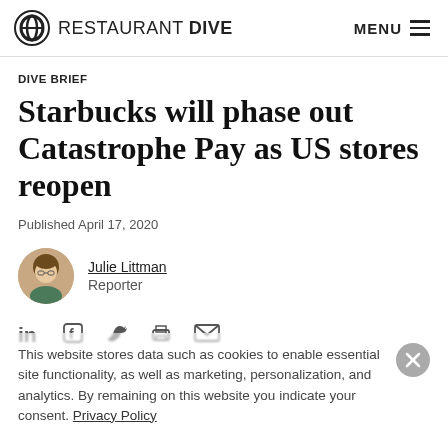RESTAURANT DIVE | MENU
DIVE BRIEF
Starbucks will phase out Catastrophe Pay as US stores reopen
Published April 17, 2020
Julie Littman
Reporter
This website stores data such as cookies to enable essential site functionality, as well as marketing, personalization, and analytics. By remaining on this website you indicate your consent. Privacy Policy